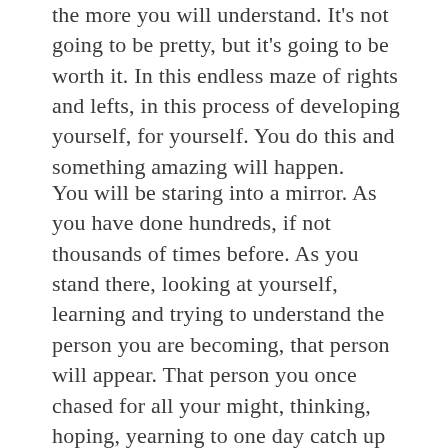the more you will understand. It's not going to be pretty, but it's going to be worth it. In this endless maze of rights and lefts, in this process of developing yourself, for yourself. You do this and something amazing will happen.
You will be staring into a mirror. As you have done hundreds, if not thousands of times before. As you stand there, looking at yourself, learning and trying to understand the person you are becoming, that person will appear. That person you once chased for all your might, thinking, hoping, yearning to one day catch up to- will appear at your shoulder. You may not know them right now, let alone be attracted to them at this present moment. But as you learn about yourself, you will learn what you find attractive, not just in other people but in yourself.